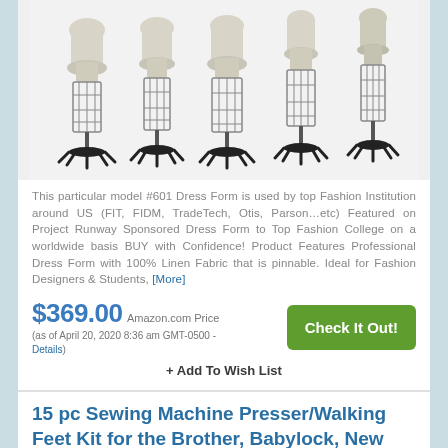[Figure (photo): Five dress form mannequins with cage skirt stands and black bases, shown in a row]
This particular model #601 Dress Form is used by top Fashion Institution around US (FIT, FIDM, TradeTech, Otis, Parson…etc) Featured on Project Runway Sponsored Dress Form to Top Fashion College on a worldwide basis BUY with Confidence! Product Features Professional Dress Form with 100% Linen Fabric that is pinnable. Ideal for Fashion Designers & Students, [More]
$369.00 Amazon.com Price (as of April 20, 2020 8:36 am GMT-0500 - Details)
+ Add To Wish List
15 pc Sewing Machine Presser/Walking Feet Kit for the Brother, Babylock, New
[Figure (photo): Sewing machine presser/walking feet kit product image]